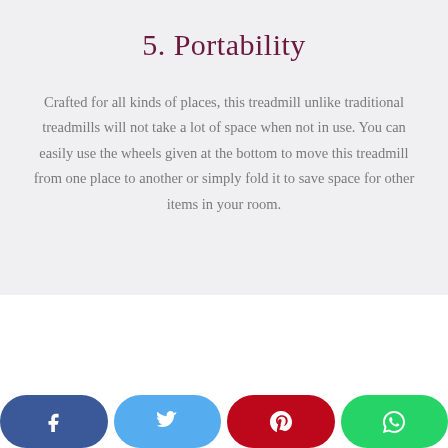5. Portability
Crafted for all kinds of places, this treadmill unlike traditional treadmills will not take a lot of space when not in use. You can easily use the wheels given at the bottom to move this treadmill from one place to another or simply fold it to save space for other items in your room.
[Figure (other): Social share buttons: Facebook, Twitter, Pinterest, WhatsApp]